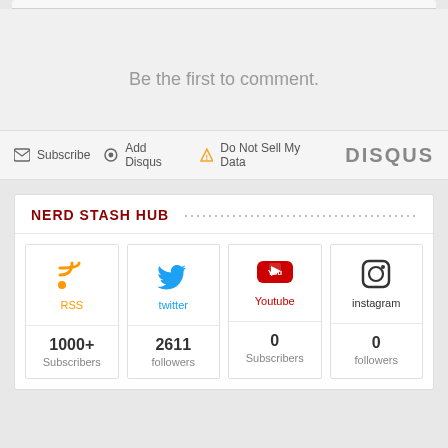Be the first to comment.
Subscribe  Add Disqus  Do Not Sell My Data  DISQUS
NERD STASH HUB
[Figure (infographic): Social media hub widget showing RSS (1000+ Subscribers), Twitter (2611 followers), Youtube (0 Subscribers), Instagram (0 followers)]